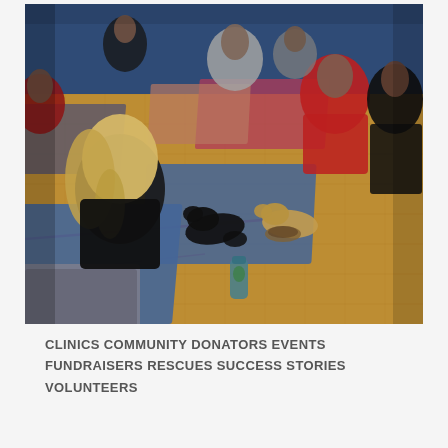[Figure (photo): Indoor puppy yoga class in a gymnasium with wood floor and blue yoga mats. Multiple people sit on mats interacting with puppies including black and yellow Labrador puppies. The room has a blue wall in the background.]
CLINICS COMMUNITY DONATORS EVENTS FUNDRAISERS RESCUES SUCCESS STORIES VOLUNTEERS